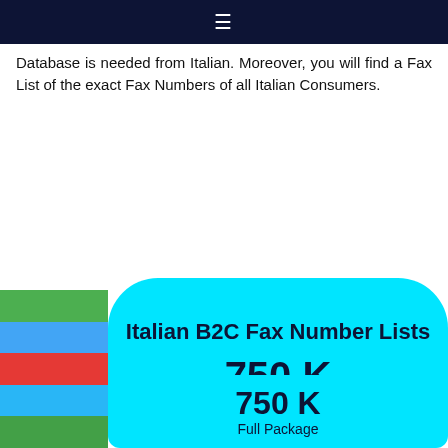≡
Database is needed from Italian. Moreover, you will find a Fax List of the exact Fax Numbers of all Italian Consumers.
Italian B2C Fax Number Lists
750 K
Italian Consumer Fax Numbers
750 K
Full Package